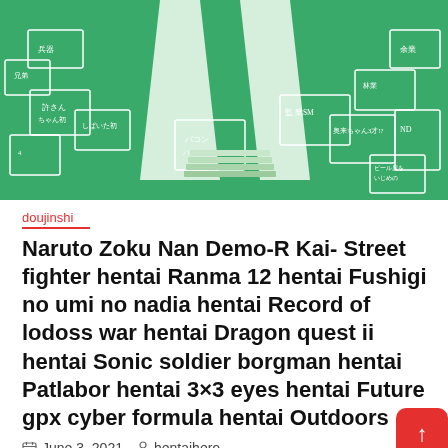[Figure (illustration): Green-tinted anime/manga illustration showing a character surrounded by many labeled boxes and envelopes with Japanese text]
doujinshi
Naruto Zoku Nan Demo-R Kai- Street fighter hentai Ranma 12 hentai Fushigi no umi no nadia hentai Record of lodoss war hentai Dragon quest ii hentai Sonic soldier borgman hentai Patlabor hentai 3×3 eyes hentai Future gpx cyber formula hentai Outdoors
June 3, 2021   hentaihero
Parodies: Street fighter hentai, Ranma 12 hentai, Fushigi